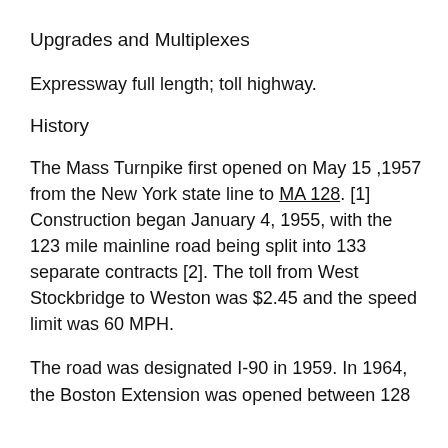Upgrades and Multiplexes
Expressway full length; toll highway.
History
The Mass Turnpike first opened on May 15 ,1957 from the New York state line to MA 128. [1] Construction began January 4, 1955, with the 123 mile mainline road being split into 133 separate contracts [2]. The toll from West Stockbridge to Weston was $2.45 and the speed limit was 60 MPH.
The road was designated I-90 in 1959. In 1964, the Boston Extension was opened between 128...